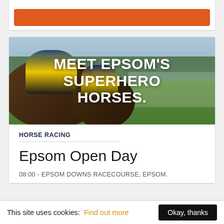[Figure (photo): Partial orange button at top of page, likely a ticket purchase CTA button]
[Figure (photo): Horse racing photograph showing jockeys on horses at Epsom Downs Racecourse with overlay text reading MEET EPSOM'S SUPERHERO HORSES.]
HORSE RACING
Epsom Open Day
08:00 - EPSOM DOWNS RACECOURSE, EPSOM.
This site uses cookies: Find out more   Okay, thanks